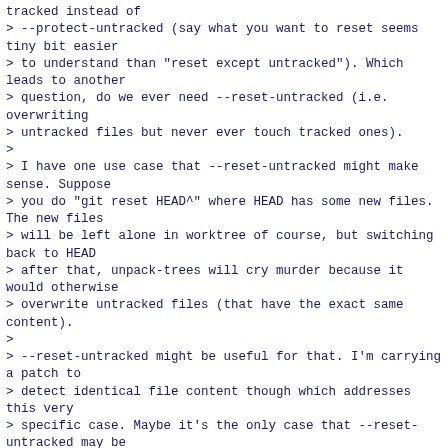tracked instead of
> --protect-untracked (say what you want to reset seems tiny bit easier
> to understand than "reset except untracked"). Which leads to another
> question, do we ever need --reset-untracked (i.e. overwriting
> untracked files but never ever touch tracked ones).
>
> I have one use case that --reset-untracked might make sense. Suppose
> you do "git reset HEAD^" where HEAD has some new files. The new files
> will be left alone in worktree of course, but switching back to HEAD
> after that, unpack-trees will cry murder because it would otherwise
> overwrite untracked files (that have the exact same content).
>
> --reset-untracked might be useful for that. I'm carrying a patch to
> detect identical file content though which addresses this very
> specific case. Maybe it's the only case that --reset-untracked may be
> useful.

That patch sounds useful (I played around with "hg update" the other day
  I think it does the same). I think that by sending bl